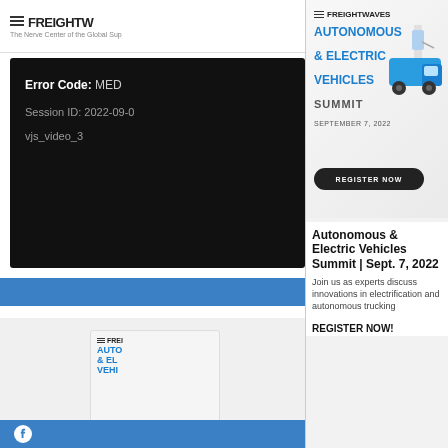[Figure (screenshot): FreightWaves website header with logo and tagline 'The Nerve Center of the Global Sup...']
[Figure (screenshot): Video player error panel on dark/black background showing Error Code: MED... and Session ID: 2022-09-0... vjs_video_3]
[Figure (advertisement): FreightWaves Autonomous & Electric Vehicles Summit advertisement banner with blue truck illustration, date September 7 2022, and REGISTER NOW button]
Autonomous & Electric Vehicles Summit | Sept. 7, 2022
Join us as experts discuss innovations in electrification and autonomous trucking
REGISTER NOW!